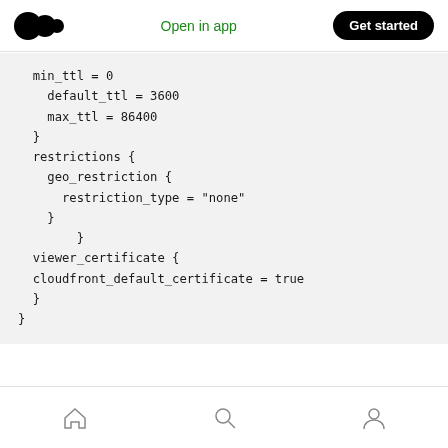Open in app | Get started
[Figure (screenshot): Code block showing Terraform/HCL configuration with min_ttl, default_ttl, max_ttl, restrictions with geo_restriction, and viewer_certificate blocks]
OUTPUTS
Home | Search | Profile navigation icons